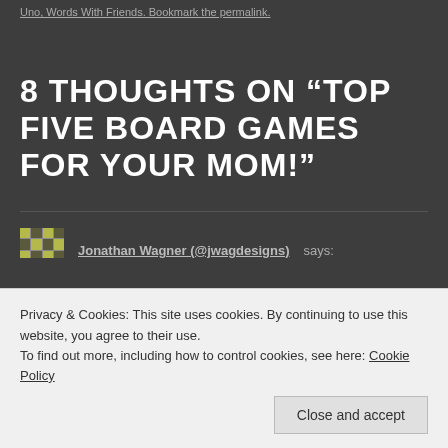Uno, Words With Friends. Bookmark the permalink.
8 THOUGHTS ON “TOP FIVE BOARD GAMES FOR YOUR MOM!”
Jonathan Wagner (@jwagdesigns) says:
May 6, 2014 at 1:11 pm
Privacy & Cookies: This site uses cookies. By continuing to use this website, you agree to their use.
To find out more, including how to control cookies, see here: Cookie Policy